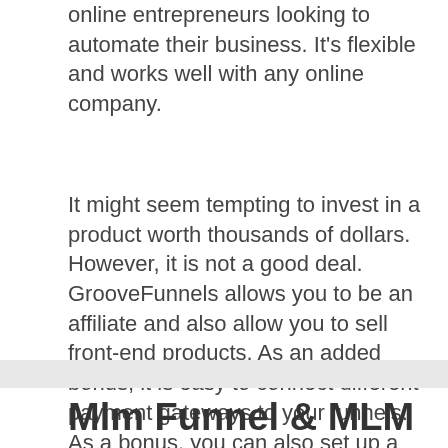online entrepreneurs looking to automate their business. It's flexible and works well with any online company.
It might seem tempting to invest in a product worth thousands of dollars. However, it is not a good deal. GrooveFunnels allows you to be an affiliate and also allow you to sell front-end products. As an added bonus, it is easy to connect different payment gateways to your funnels. As a bonus, you can also set up a custom thank-you page.
Mlm Funnel & MLM –